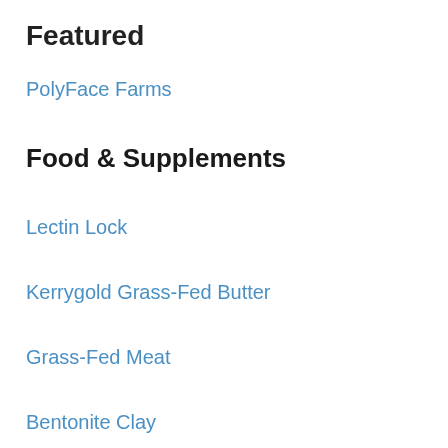Featured
PolyFace Farms
Food & Supplements
Lectin Lock
Kerrygold Grass-Fed Butter
Grass-Fed Meat
Bentonite Clay
Activated Charcoal
Upgraded™ Glutathione